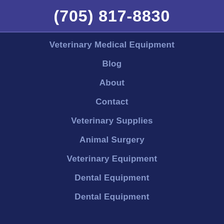(705) 817-8830
Veterinary Medical Equipment
Blog
About
Contact
Veterinary Supplies
Animal Surgery
Veterinary Equipment
Dental Equipment
Dental Equipment